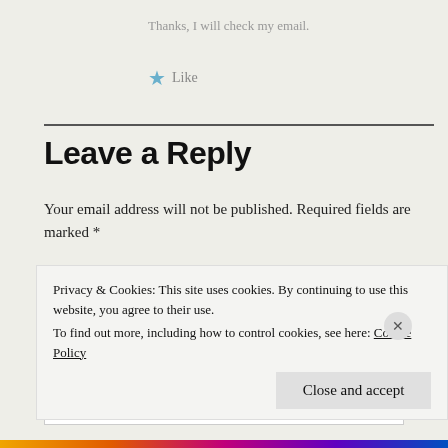Thanks, I will check my email.
★ Like
Leave a Reply
Your email address will not be published. Required fields are marked *
Comment *
Privacy & Cookies: This site uses cookies. By continuing to use this website, you agree to their use.
To find out more, including how to control cookies, see here: Cookie Policy
Close and accept